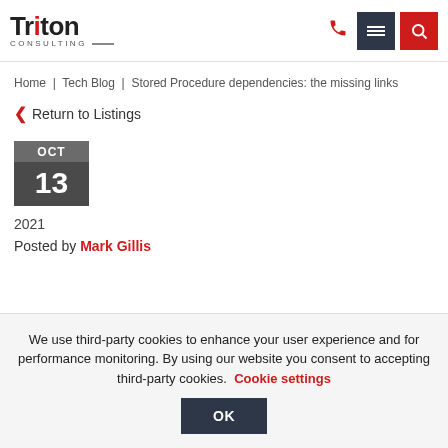Triton Consulting — navigation header with logo, phone icon, menu button, and search button
Home | Tech Blog | Stored Procedure dependencies: the missing links
< Return to Listings
[Figure (infographic): Calendar date widget showing OCT 13]
2021
Posted by Mark Gillis
We use third-party cookies to enhance your user experience and for performance monitoring. By using our website you consent to accepting third-party cookies. Cookie settings
OK